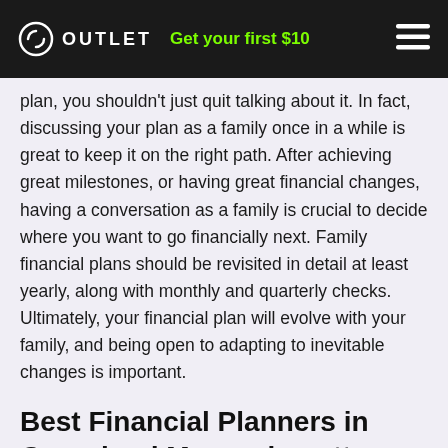OUTLET  Get your first $10
plan, you shouldn't just quit talking about it. In fact, discussing your plan as a family once in a while is great to keep it on the right path. After achieving great milestones, or having great financial changes, having a conversation as a family is crucial to decide where you want to go financially next. Family financial plans should be revisited in detail at least yearly, along with monthly and quarterly checks. Ultimately, your financial plan will evolve with your family, and being open to adapting to inevitable changes is important.
Best Financial Planners in Groveland Massachusetts 01834